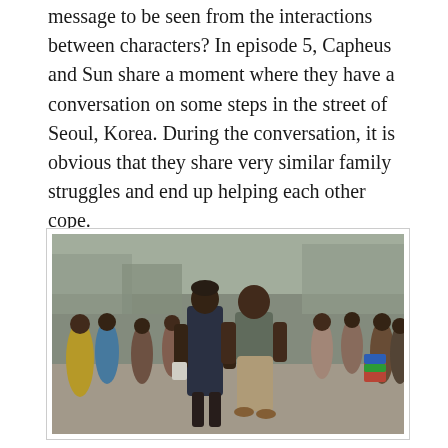message to be seen from the interactions between characters? In episode 5, Capheus and Sun share a moment where they have a conversation on some steps in the street of Seoul, Korea. During the conversation, it is obvious that they share very similar family struggles and end up helping each other cope.
[Figure (photo): A scene from a TV show showing two characters in the foreground facing each other — a woman in a dark navy dress and a man in a grey t-shirt and khaki pants — surrounded by a crowd of people on a street, likely in an African city setting.]